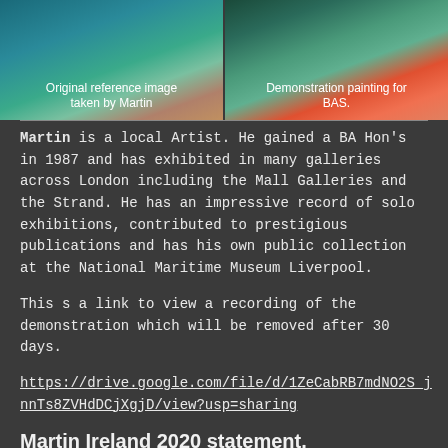[Figure (photo): Left photo showing underwater swimmer, with caption 'Original reference image taken by Martin']
[Figure (photo): Right photo showing underwater figure with orange tones, with caption 'Demonstration painting for BAS.']
Martin is a local Artist. He gained a BA Hon's in 1987 and has exhibited in many galleries across London including the Mall Galleries and the Strand. He has an impressive record of solo exhibitions, contributed to prestigious publications and has his own public collection at the National Maritime Museum Liverpool.
This s a link to view a recording of the demonstration which will be removed after 30 days.
https://drive.google.com/file/d/1ZeCabRB7mdNO2S_jnnTs8ZVHdDCjXgjD/view?usp=sharing
Martin Ireland 2020 statement.